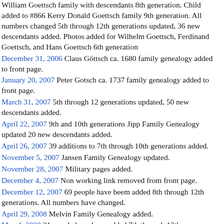William Goettsch family with descendants 8th generation. Child added to #866 Kerry Donald Goettsch family 9th generation. All numbers changed 5th through 12th generations updated, 36 new descendants added. Photos added for Wilhelm Goettsch, Ferdinand Goettsch, and Hans Goettsch 6th generation
December 31, 2006 Claus Göttsch ca. 1680 family genealogy added to front page.
January 20, 2007 Peter Gotsch ca. 1737 family genealogy added to front page.
March 31, 2007 5th through 12 generations updated, 50 new descendants added.
April 22, 2007 9th and 10th generations Jipp Family Genealogy updated 20 new descendants added.
April 26, 2007 39 additions to 7th through 10th generations added.
November 5, 2007 Jansen Family Genealogy updated.
November 28, 2007 Military pages added.
December 4, 2007 Non working link removed from front page.
December 12, 2007 69 people have beem added 8th through 12th generations. All numbers have changed.
April 29, 2008 Melvin Family Genealogy added.
May 4, 2008 21 people have been added 7th through 12th generations. All numbers have changed.
July 25, 2008 44 people have been added 8th through 11th generations Timperley genealogy. All numbers have changed.
November 18, 2008 108 people have been added 4th through 12th generations. Goettsch numbers. All numbers have changed.